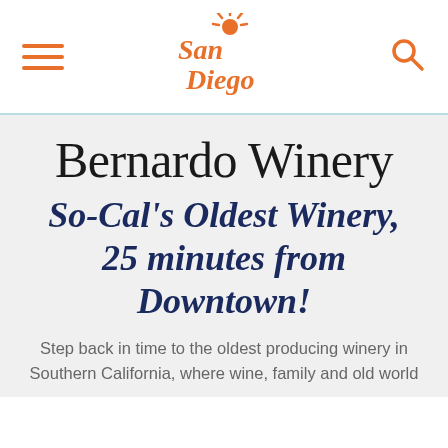[Figure (logo): San Diego tourism logo in orange script with sun rays graphic]
Bernardo Winery
So-Cal's Oldest Winery, 25 minutes from Downtown!
Step back in time to the oldest producing winery in Southern California, where wine, family and old world